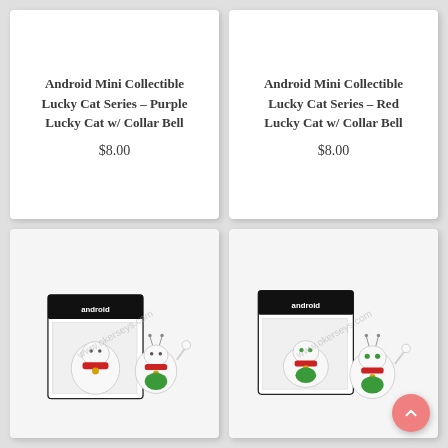Android Mini Collectible Lucky Cat Series – Purple Lucky Cat w/ Collar Bell
$8.00
Android Mini Collectible Lucky Cat Series – Red Lucky Cat w/ Collar Bell
$8.00
[Figure (photo): Android Mini Collectible Lucky Cat figure (purple/white) next to its Android branded box. Watermark: www.okerseys.com]
[Figure (photo): Android Mini Collectible Lucky Cat figure (red/green/white) next to its Android branded box. Watermark: www.okerseys.com]